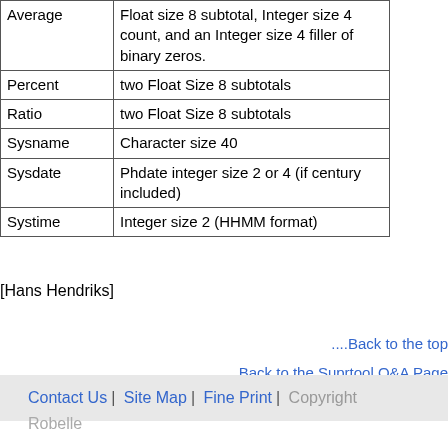|  |  |
| --- | --- |
| Average | Float size 8 subtotal, Integer size 4 count, and an Integer size 4 filler of binary zeros. |
| Percent | two Float Size 8 subtotals |
| Ratio | two Float Size 8 subtotals |
| Sysname | Character size 40 |
| Sysdate | Phdate integer size 2 or 4 (if century included) |
| Systime | Integer size 2 (HHMM format) |
[Hans Hendriks]
....Back to the top
....Back to the Suprtool Q&A Page
Contact Us | Site Map | Fine Print | Copyright
Robelle